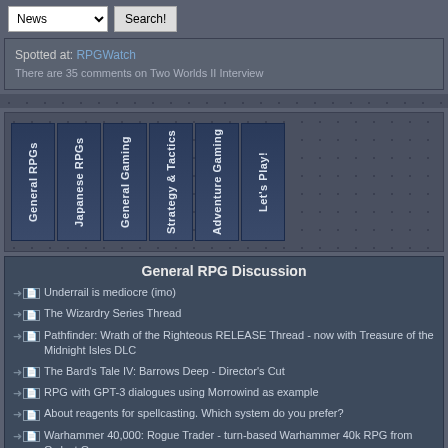News | Search!
Spotted at: RPGWatch
There are 35 comments on Two Worlds II Interview
[Figure (other): Navigation tabs with vertical text: General RPGs, Japanese RPGs, General Gaming, Strategy & Tactics, Adventure Gaming, Let's Play!]
General RPG Discussion
Underrail is mediocre (imo)
The Wizardry Series Thread
Pathfinder: Wrath of the Righteous RELEASE Thread - now with Treasure of the Midnight Isles DLC
The Bard's Tale IV: Barrows Deep - Director's Cut
RPG with GPT-3 dialogues using Morrowind as example
About reagents for spellcasting. Which system do you prefer?
Warhammer 40,000: Rogue Trader - turn-based Warhammer 40k RPG from Owlcat Games
Fallout 3 isn't as bad as you think...